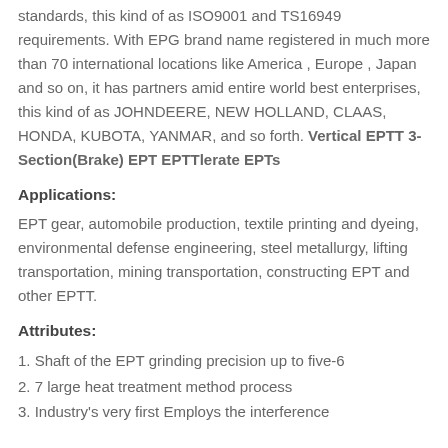standards, this kind of as ISO9001 and TS16949 requirements. With EPG brand name registered in much more than 70 international locations like America , Europe , Japan and so on, it has partners amid entire world best enterprises, this kind of as JOHNDEERE, NEW HOLLAND, CLAAS, HONDA, KUBOTA, YANMAR, and so forth. Vertical EPTT 3-Section(Brake) EPT EPTTlerate EPTs
Applications:
EPT gear, automobile production, textile printing and dyeing, environmental defense engineering, steel metallurgy, lifting transportation, mining transportation, constructing EPT and other EPTT.
Attributes:
1. Shaft of the EPT grinding precision up to five-6
2. 7 large heat treatment method process
3. Industry's very first Employs the interference